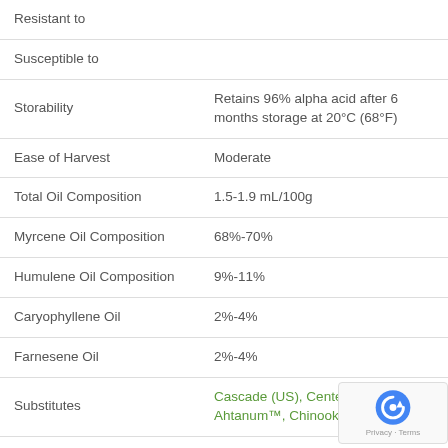| Property | Value |
| --- | --- |
| Resistant to |  |
| Susceptible to |  |
| Storability | Retains 96% alpha acid after 6 months storage at 20°C (68°F) |
| Ease of Harvest | Moderate |
| Total Oil Composition | 1.5-1.9 mL/100g |
| Myrcene Oil Composition | 68%-70% |
| Humulene Oil Composition | 9%-11% |
| Caryophyllene Oil | 2%-4% |
| Farnesene Oil | 2%-4% |
| Substitutes | Cascade (US), Centennial, Ahtanum™, Chinook, Summer |